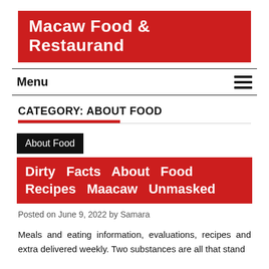Macaw Food & Restaurand
Menu
CATEGORY: ABOUT FOOD
About Food
Dirty Facts About Food Recipes Maacaw Unmasked
Posted on June 9, 2022 by Samara
Meals and eating information, evaluations, recipes and extra delivered weekly. Two substances are all that stand